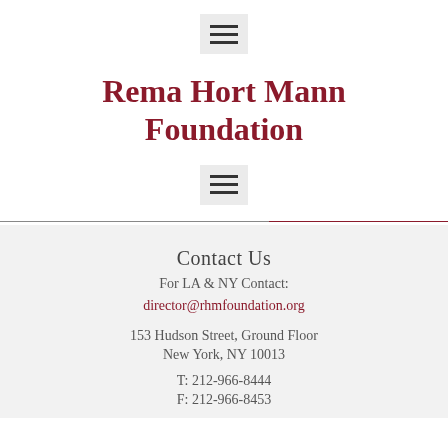[Figure (other): Hamburger menu button (three horizontal lines) with light gray background]
Rema Hort Mann Foundation
[Figure (other): Hamburger menu button (three horizontal lines) with light gray background]
Contact Us
For LA & NY Contact:
director@rhmfoundation.org
153 Hudson Street, Ground Floor
New York, NY 10013
T: 212-966-8444
F: 212-966-8453